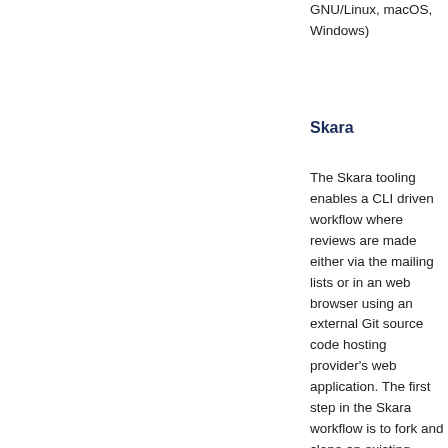GNU/Linux, macOS, Windows)
Skara
The Skara tooling enables a CLI driven workflow where reviews are made either via the mailing lists or in an web browser using an external Git source code hosting provider's web application. The first step in the Skara workflow is to fork and clone an existing upstream repository and create a local branch. A contributor will then make his or her changes, run jcheck on the local commits, push the branch to his or her fork and then finally create a pull request: